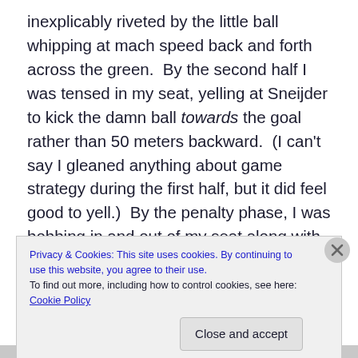inexplicably riveted by the little ball whipping at mach speed back and forth across the green.  By the second half I was tensed in my seat, yelling at Sneijder to kick the damn ball towards the goal rather than 50 meters backward.  (I can't say I gleaned anything about game strategy during the first half, but it did feel good to yell.)  By the penalty phase, I was bobbing in and out of my seat along with the vociferously vocal men and one little boy in front of us and the two Scouts
Privacy & Cookies: This site uses cookies. By continuing to use this website, you agree to their use.
To find out more, including how to control cookies, see here: Cookie Policy
Close and accept